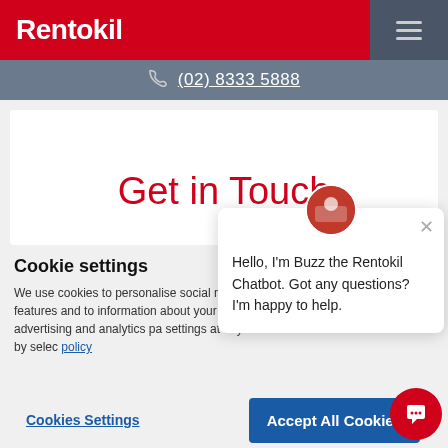Rentokil
(02) 8333 5888
Get in Touch
Cookie settings
We use cookies to personalise social media features and to information about your use advertising and analytics pa settings at any time by selec policy
Hello, I'm Buzz the Rentokil Chatbot. Got any questions? I'm happy to help.
Cookies Settings
Accept All Cookies